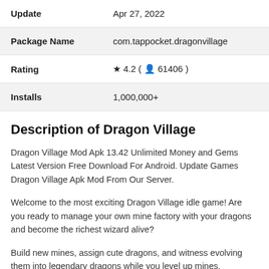| Field | Value |
| --- | --- |
| Update | Apr 27, 2022 |
| Package Name | com.tappocket.dragonvillage |
| Rating | ★ 4.2 ( 👤 61406 ) |
| Installs | 1,000,000+ |
Description of Dragon Village
Dragon Village Mod Apk 13.42 Unlimited Money and Gems Latest Version Free Download For Android. Update Games Dragon Village Apk Mod From Our Server.
Welcome to the most exciting Dragon Village idle game! Are you ready to manage your own mine factory with your dragons and become the richest wizard alive?
Build new mines, assign cute dragons, and witness evolving them into legendary dragons while you level up mines. Build your idle farm of dragons... Play "Dragon Village" to experience...